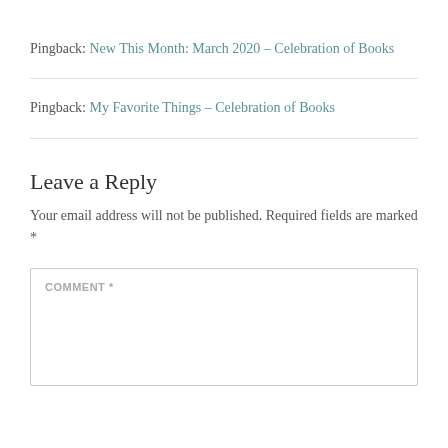Pingback: New This Month: March 2020 – Celebration of Books
Pingback: My Favorite Things – Celebration of Books
Leave a Reply
Your email address will not be published. Required fields are marked *
COMMENT *